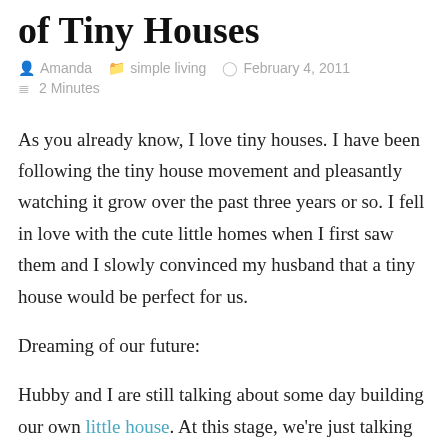of Tiny Houses
Amanda   simple living   February 4, 2011   2 Minutes
As you already know, I love tiny houses. I have been following the tiny house movement and pleasantly watching it grow over the past three years or so. I fell in love with the cute little homes when I first saw them and I slowly convinced my husband that a tiny house would be perfect for us.
Dreaming of our future:
Hubby and I are still talking about some day building our own little house. At this stage, we're just talking what-ifs, what if we did this, what if we did that, so that